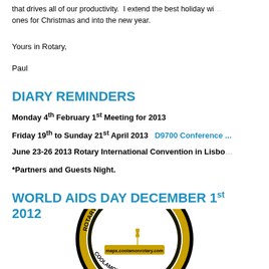that drives all of our productivity.  I extend the best holiday wi... ones for Christmas and into the new year.
Yours in Rotary,
Paul
DIARY REMINDERS
Monday 4th February 1st Meeting for 2013
Friday 19th to Sunday 21st April 2013   D9700 Conference ...
June 23-26 2013 Rotary International Convention in Lisbo...
*Partners and Guests Night.
WORLD AIDS DAY DECEMBER 1st 2012
[Figure (logo): Rotary Club of Coolamon circular logo with gold wheat sheaf and text 'maps.coolamonrotary.com']